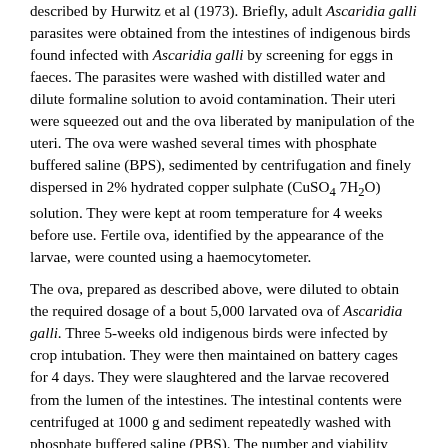described by Hurwitz et al (1973). Briefly, adult Ascaridia galli parasites were obtained from the intestines of indigenous birds found infected with Ascaridia galli by screening for eggs in faeces. The parasites were washed with distilled water and dilute formaline solution to avoid contamination. Their uteri were squeezed out and the ova liberated by manipulation of the uteri. The ova were washed several times with phosphate buffered saline (BPS), sedimented by centrifugation and finely dispersed in 2% hydrated copper sulphate (CuSO4 7H2O) solution. They were kept at room temperature for 4 weeks before use. Fertile ova, identified by the appearance of the larvae, were counted using a haemocytometer.
The ova, prepared as described above, were diluted to obtain the required dosage of a bout 5,000 larvated ova of Ascaridia galli. Three 5-weeks old indigenous birds were infected by crop intubation. They were then maintained on battery cages for 4 days. They were slaughtered and the larvae recovered from the lumen of the intestines. The intestinal contents were centrifuged at 1000 g and sediment repeatedly washed with phosphate buffered saline (PBS). The number and viability (judged by their motility) of the larvae estimated microscopically.
In-vitro screening of plants